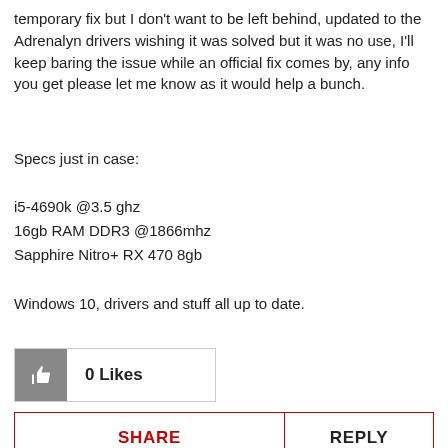temporary fix but I don't want to be left behind, updated to the Adrenalyn drivers wishing it was solved but it was no use, I'll keep baring the issue while an official fix comes by, any info you get please let me know as it would help a bunch.
Specs just in case:
i5-4690k @3.5 ghz
16gb RAM DDR3 @1866mhz
Sapphire Nitro+ RX 470 8gb
Windows 10, drivers and stuff all up to date.
0 Likes
SHARE
REPLY